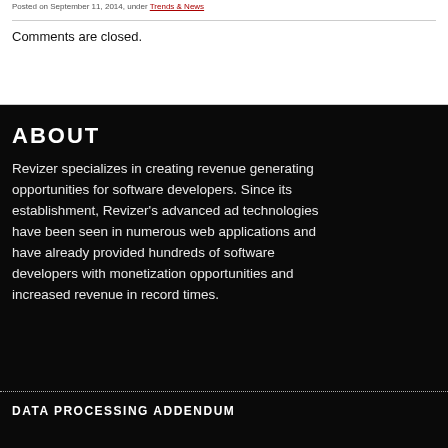Posted on September 11, 2014, under Trends & News
Comments are closed.
ABOUT
Revizer specializes in creating revenue generating opportunities for software developers. Since its establishment, Revizer's advanced ad technologies have been seen in numerous web applications and have already provided hundreds of software developers with monetization opportunities and increased revenue in record times.
DATA PROCESSING ADDENDUM